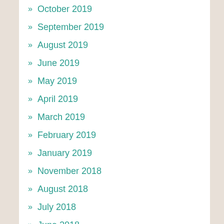October 2019
September 2019
August 2019
June 2019
May 2019
April 2019
March 2019
February 2019
January 2019
November 2018
August 2018
July 2018
June 2018
April 2018
March 2018
February 2018